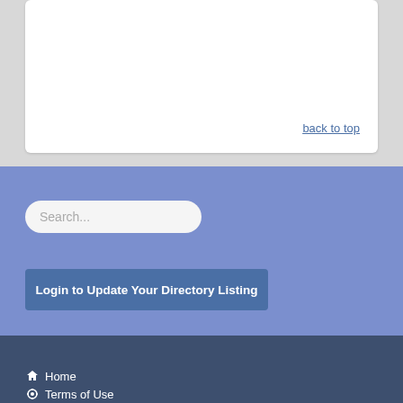back to top
Search...
Login to Update Your Directory Listing
Site Links
Home
Terms of Use
Disclaimer
Photo Credits
Download Our Brochure